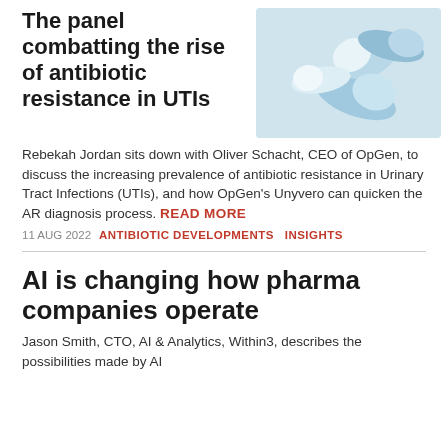The panel combatting the rise of antibiotic resistance in UTIs
[Figure (photo): Photograph of blue and white capsule pills on a light blue background]
Rebekah Jordan sits down with Oliver Schacht, CEO of OpGen, to discuss the increasing prevalence of antibiotic resistance in Urinary Tract Infections (UTIs), and how OpGen's Unyvero can quicken the AR diagnosis process. READ MORE
11 AUG 2022   ANTIBIOTIC DEVELOPMENTS   INSIGHTS
AI is changing how pharma companies operate
Jason Smith, CTO, AI & Analytics, Within3, describes the possibilities made by AI